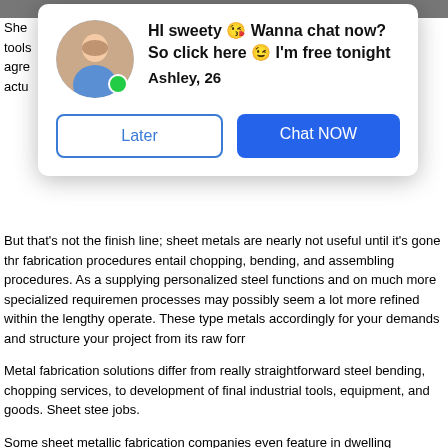[Figure (screenshot): Chat popup overlay with woman's avatar photo, message 'HI sweety 😘 Wanna chat now? So click here 😉 I'm free tonight', name 'Ashley, 26', green online dot, and two buttons: 'Later' and 'Chat NOW']
But that's not the finish line; sheet metals are nearly not useful until it's gone through fabrication procedures entail chopping, bending, and assembling procedures. As a supplying personalized steel functions and on much more specialized requirements, processes may possibly seem a lot more refined within the lengthy operate. These type metals accordingly for your demands and structure your project from its raw form.
Metal fabrication solutions differ from really straightforward steel bending, chopping services, to development of final industrial tools, equipment, and goods. Sheet steel jobs.
Some sheet metallic fabrication companies even feature in dwelling engineering and improved steel operates success that would satisfy the pleasure in their clients in in functional styles are possibly not the one factors a person must contemplate in de same time will be the feasible toughness of shaped and made steel merchandise in t
In case you are around wanting to the ideal and most responsible sheet steel fabric you may want to consider this stuff:
· Many metallic fabrication firms present custom made fabrication products and servi
· The price; on account of the demand of fabrication requirements just remember to are really providing for you personally